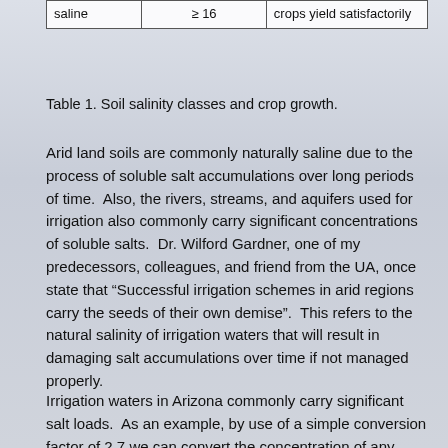|  |  |  |
| --- | --- | --- |
| saline | ≥ 16 | crops yield satisfactorily |
Table 1. Soil salinity classes and crop growth.
Arid land soils are commonly naturally saline due to the process of soluble salt accumulations over long periods of time.  Also, the rivers, streams, and aquifers used for irrigation also commonly carry significant concentrations of soluble salts.  Dr. Wilford Gardner, one of my predecessors, colleagues, and friend from the UA, once state that “Successful irrigation schemes in arid regions carry the seeds of their own demise”.  This refers to the natural salinity of irrigation waters that will result in damaging salt accumulations over time if not managed properly.
Irrigation waters in Arizona commonly carry significant salt loads.  As an example, by use of a simple conversion factor of 2.7 we can convert the concentration of any